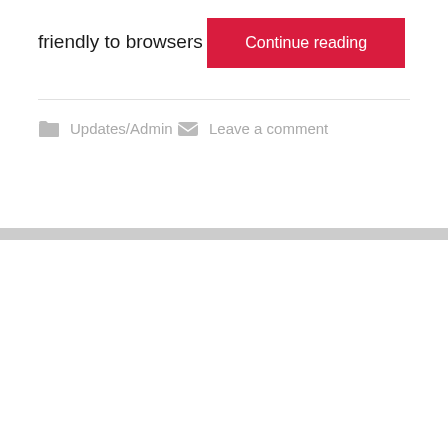friendly to browsers
Continue reading
Updates/Admin
Leave a comment